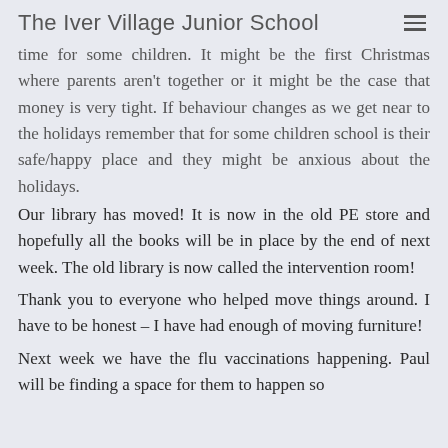The Iver Village Junior School
time for some children.  It might be the first Christmas where parents aren't together or it might be the case that money is very tight.  If behaviour changes as we get near to the holidays remember that for some children school is their safe/happy place and they might be anxious about the holidays.
Our library has moved!  It is now in the old PE store and hopefully all the books will be in place by the end of next week.   The old library is now called the intervention room!
Thank you to everyone who helped move things around.  I have to be honest – I have had enough of moving furniture!
Next week we have the flu vaccinations happening.  Paul will be finding a space for them to happen so